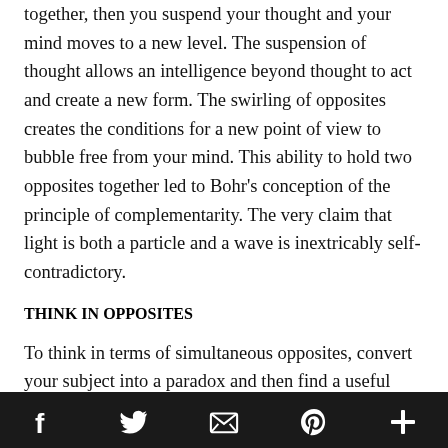together, then you suspend your thought and your mind moves to a new level. The suspension of thought allows an intelligence beyond thought to act and create a new form. The swirling of opposites creates the conditions for a new point of view to bubble free from your mind. This ability to hold two opposites together led to Bohr's conception of the principle of complementarity. The very claim that light is both a particle and a wave is inextricably self-contradictory.
THINK IN OPPOSITES
To think in terms of simultaneous opposites, convert your subject into a paradox and then find a useful analogy. Foundries clean forged metal parts by sandblasting them. The sand cleans the parts but the sand gets into the
f  🐦  ✉  p  +